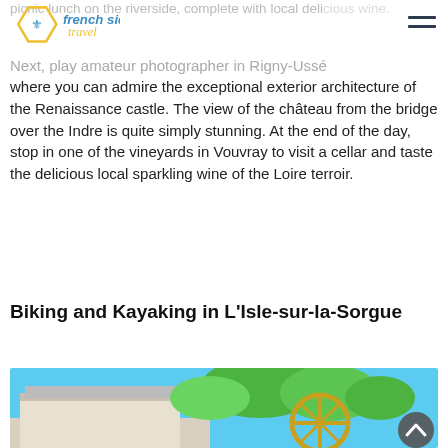French Side Travel — navigation header with logo
picnic lunch on the riverside, complete with local delicious wine.
Next, play amateur photographer in Rigny-Ussé where you can admire the exceptional exterior architecture of the Renaissance castle. The view of the château from the bridge over the Indre is quite simply stunning. At the end of the day, stop in one of the vineyards in Vouvray to visit a cellar and taste the delicious local sparkling wine of the Loire terroir.
Biking and Kayaking in L'Isle-sur-la-Sorgue
[Figure (photo): Outdoor photo showing a watermill wheel with green trees and blue sky in L'Isle-sur-la-Sorgue]